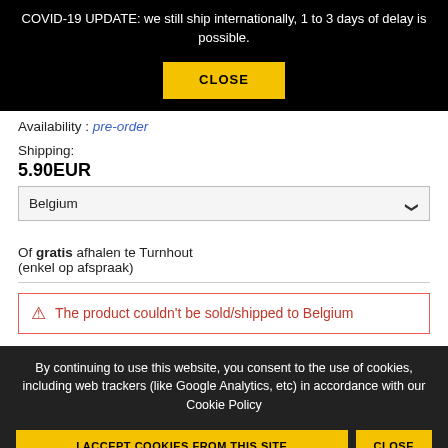COVID-19 UPDATE: we still ship internationally, 1 to 3 days of delay is possible.
CLOSE
Availability : pre-order
Shipping:
5.90EUR
Belgium
Of gratis afhalen te Turnhout
(enkel op afspraak)
⚠ The product couldn't be sold/shipped to Belgium
By continuing to use this website, you consent to the use of cookies, including web trackers (like Google Analytics, etc) in accordance with our Cookie Policy
I ACCEPT COOKIES FROM THIS SITE
CLOSE